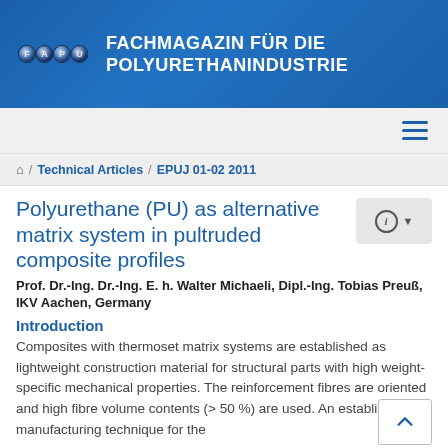[Figure (logo): FAPU logo banner — blue background with FAPU letter circles on left and text 'FACHMAGAZIN FÜR DIE POLYURETHANINDUSTRIE' on right in white bold capitals]
Technical Articles / EPUJ 01-02 2011
Polyurethane (PU) as alternative matrix system in pultruded composite profiles
Prof. Dr.-Ing. Dr.-Ing. E. h. Walter Michaeli, Dipl.-Ing. Tobias Preuß, IKV Aachen, Germany
Introduction
Composites with thermoset matrix systems are established as lightweight construction material for structural parts with high weight-specific mechanical properties. The reinforcement fibres are oriented and high fibre volume contents (> 50 %) are used. An established manufacturing technique for the